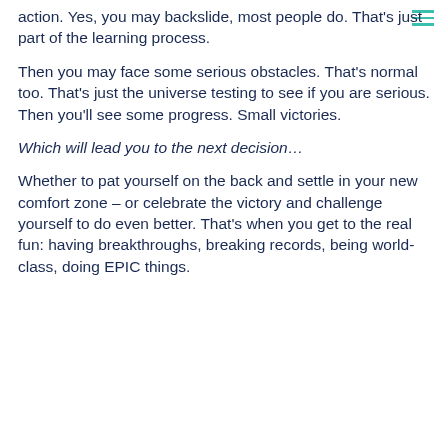action.  Yes, you may backslide, most people do.  That's just part of the learning process.
Then you may face some serious obstacles. That's normal too.  That's just the universe testing to see if you are serious.  Then you'll see some progress.  Small victories.
Which will lead you to the next decision…
Whether to pat yourself on the back and settle in your new comfort zone – or celebrate the victory and challenge yourself to do even better.   That's when you get to the real fun: having breakthroughs, breaking records, being world-class, doing EPIC things.